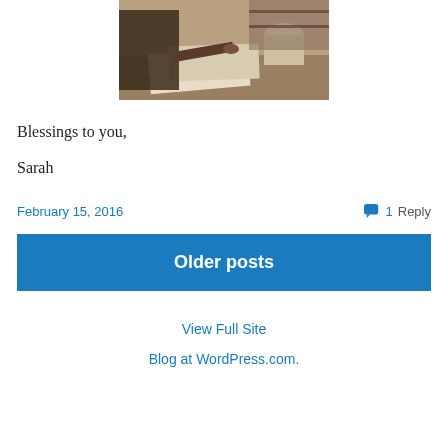[Figure (photo): Black and white / sepia photograph of a person pointing at papers/documents on a desk, with a rolled document visible in the background.]
Blessings to you,
Sarah
February 15, 2016
1 Reply
Older posts
View Full Site
Blog at WordPress.com.